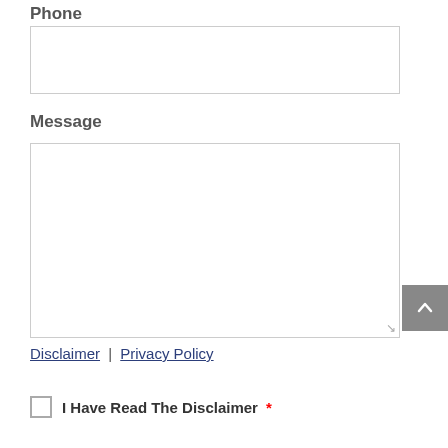Phone
[Figure (other): Empty text input box for phone field]
Message
[Figure (other): Large empty textarea for message input with resize handle]
Disclaimer | Privacy Policy
I Have Read The Disclaimer *